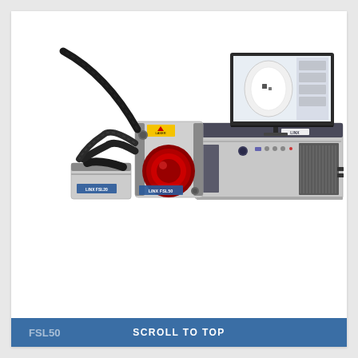[Figure (photo): Linx FSL fibre laser coder equipment: a laser scan head unit connected by black flex cable to a desktop control unit with monitor displaying a circular marking pattern on screen. The laser head has a large red lens. Equipment is silver/grey with blue Linx branding.]
SEPTEMBER 18, 2015
Linx Launch New Fibre Lasers
Linx have recently added two new high powered fibre laser coders to their product line-up: the FSL20 and FSL50